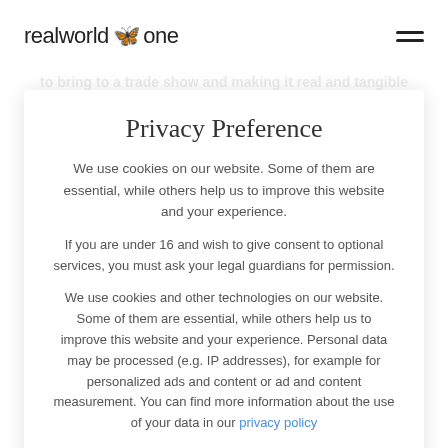realworld one
to bring to a trade show and making it real and tangible and an exciting experience" – David Martyr, CEO of Tecan commented.
The interactive virtual reality experience created by realworld one presented Tecan's laboratory automation workstation, the Fluent. This instrumentation breaks open the pipetting grouping.
Throughout the virtual experience, users learned about the Fluent's function, operation and about the Labwerx customers to optimise...
Privacy Preference
We use cookies on our website. Some of them are essential, while others help us to improve this website and your experience.
If you are under 16 and wish to give consent to optional services, you must ask your legal guardians for permission.
We use cookies and other technologies on our website. Some of them are essential, while others help us to improve this website and your experience. Personal data may be processed (e.g. IP addresses), for example for personalized ads and content or ad and content measurement. You can find more information about the use of your data in our privacy policy
Essential
Statistics
External Media